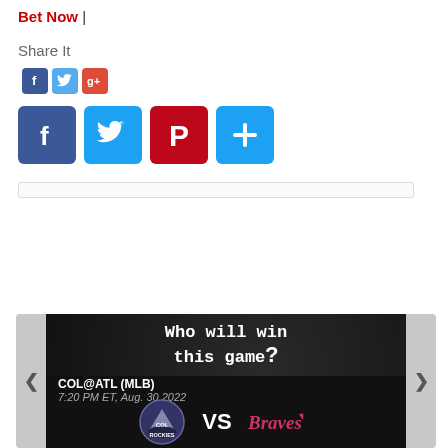Bet Now |
Share It
[Figure (infographic): Small social media share icons row: Facebook (blue), Twitter (light blue), Google+ (red)]
[Figure (infographic): Large social media share buttons: Facebook (blue f), Twitter (blue bird), Pinterest (red P), Plus/share (blue +)]
[Figure (infographic): Sports prediction widget showing 'Who will win this game?' with COL@ATL (MLB) matchup, 7:20 PM ET, Aug. 30 2022, Colorado Rockies vs Atlanta Braves logos]